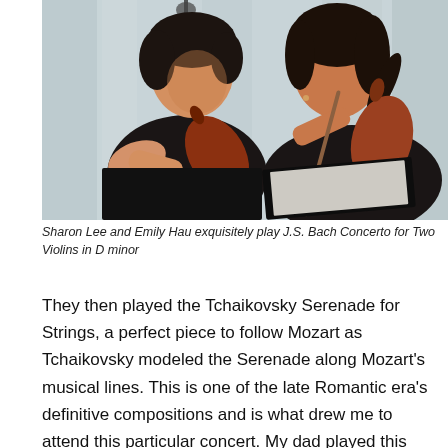[Figure (photo): Two female violinists playing violins, positioned behind black music stands. The woman on the left is Asian, wearing a black spaghetti-strap dress, looking down at her music. The woman on the right has dark hair, wearing a black sleeveless top, playing with a bow. Light blue curtain visible in the background.]
Sharon Lee and Emily Hau exquisitely play J.S. Bach Concerto for Two Violins in D minor
They then played the Tchaikovsky Serenade for Strings, a perfect piece to follow Mozart as Tchaikovsky modeled the Serenade along Mozart's musical lines. This is one of the late Romantic era's definitive compositions and is what drew me to attend this particular concert. My dad played this album many times when I was growing up. I have not listened to it